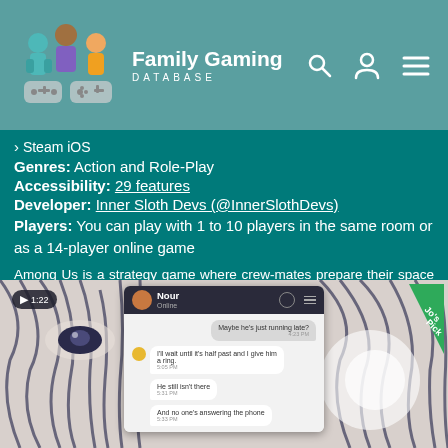Family Gaming Database
> Steam iOS
Genres: Action and Role-Play
Accessibility: 29 features
Developer: Inner Sloth Devs (@InnerSlothDevs)
Players: You can play with 1 to 10 players in the same room or as a 14-player online game
Among Us is a strategy game where crew-mates prepare their space ship for launch by completing tasks. However, one of the players is an impostor intent on sabotaging the ship and killing the crew. As the game progresses in real time the impostor...
[Figure (screenshot): Screenshot of a mobile app showing a chat conversation with user 'Nour', overlaid on illustrated artwork of a face with flowing hair. A 'Jo's Pick' badge appears in the top right corner.]